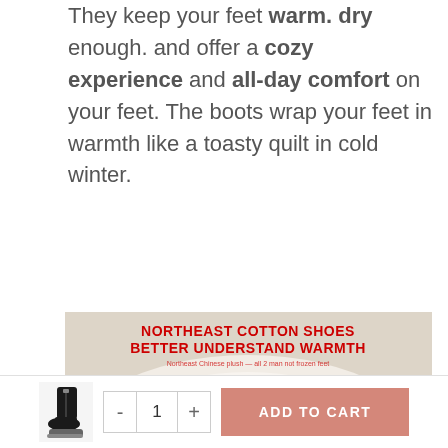They keep your feet warm. dry enough. and offer a cozy experience and all-day comfort on your feet. The boots wrap your feet in warmth like a toasty quilt in cold winter.
[Figure (photo): Product image of winter boots with white fur lining visible at top, black strap with buckle, and red text overlay reading NORTHEAST COTTON SHOES BETTER UNDERSTAND WARMTH]
[Figure (photo): Thumbnail of black winter boot with zipper and chunky sole]